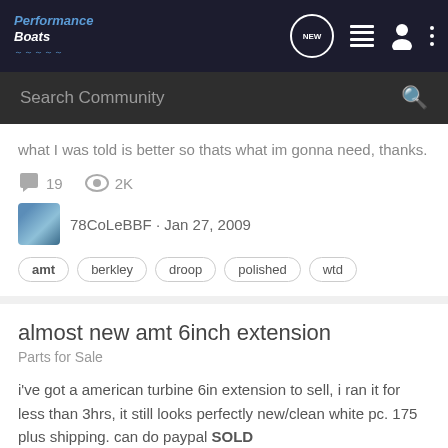Performance Boats — navigation bar with logo, NEW button, list icon, user icon, more icon
Search Community
what I was told is better so thats what im gonna need, thanks.
19 comments  2K views
78CoLeBBF · Jan 27, 2009
amt  berkley  droop  polished  wtd
almost new amt 6inch extension
Parts for Sale
i've got a american turbine 6in extension to sell, i ran it for less than 3hrs, it still looks perfectly new/clean white pc. 175 plus shipping. can do paypal SOLD
8 comments  868 views
IMPATIENT 1 · Sep 27, 2008